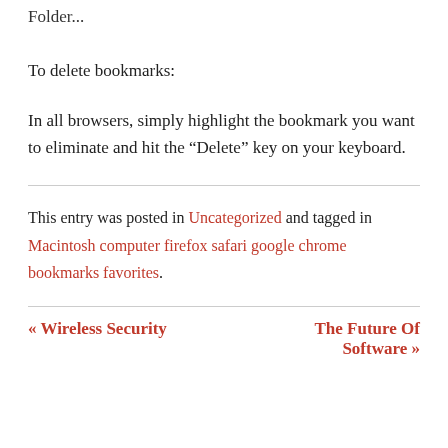Folder...
To delete bookmarks:
In all browsers, simply highlight the bookmark you want to eliminate and hit the “Delete” key on your keyboard.
This entry was posted in Uncategorized and tagged in Macintosh computer firefox safari google chrome bookmarks favorites.
« Wireless Security   The Future Of Software »